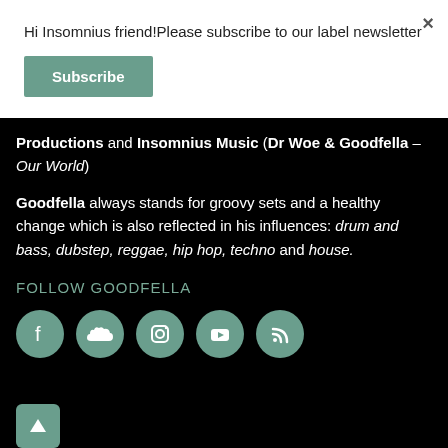Hi Insomnius friend!Please subscribe to our label newsletter
Subscribe
Productions and Insomnius Music (Dr Woe & Goodfella – Our World)
Goodfella always stands for groovy sets and a healthy change which is also reflected in his influences: drum and bass, dubstep, reggae, hip hop, techno and house.
FOLLOW GOODFELLA
[Figure (infographic): Five social media icon circles: Facebook, SoundCloud, Instagram, YouTube, RSS feed — teal colored circular buttons with white icons]